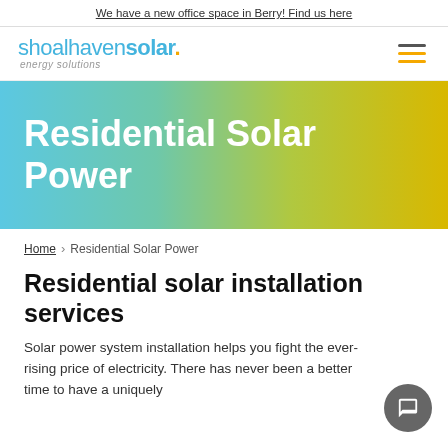We have a new office space in Berry! Find us here
[Figure (logo): Shoalhaven Solar energy solutions logo with blue text and yellow dot, plus hamburger menu icon]
[Figure (infographic): Hero banner with blue-to-yellow gradient background containing white bold text 'Residential Solar Power']
Residential Solar Power
Home > Residential Solar Power
Residential solar installation services
Solar power system installation helps you fight the ever-rising price of electricity. There has never been a better time to have a uniquely